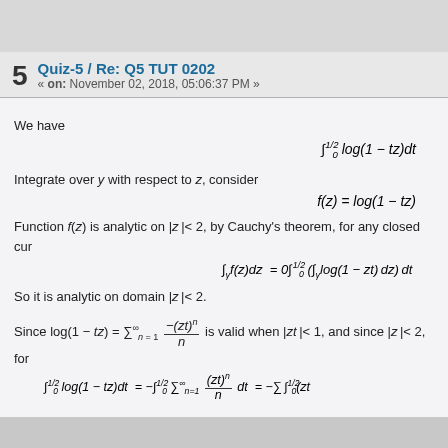5   Quiz-5 / Re: Q5 TUT 0202
« on: November 02, 2018, 05:06:37 PM »
We have
Integrate over y with respect to z, consider
Function f(z) is analytic on |z| < 2, by Cauchy's theorem, for any closed cur
So it is analytic on domain |z| < 2.
Since log(1 - tz) = \sum_{n=1}^\infty \frac{-(zt)^n}{n} is valid when |zt| < 1, and since |z| < 2, for